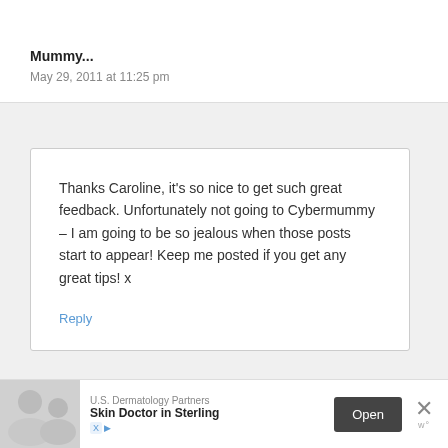Mummy...
May 29, 2011 at 11:25 pm
Thanks Caroline, it’s so nice to get such great feedback. Unfortunately not going to Cybermummy – I am going to be so jealous when those posts start to appear! Keep me posted if you get any great tips! x
Reply
[Figure (screenshot): Advertisement banner for U.S. Dermatology Partners - Skin Doctor in Sterling with Open button and close X]